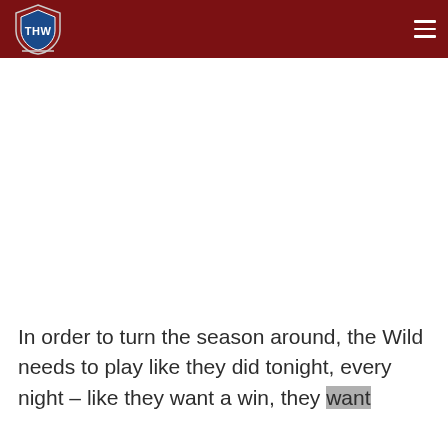THW (The Hockey Writers) site header with logo and hamburger menu
In order to turn the season around, the Wild needs to play like they did tonight, every night – like they want a win, they want